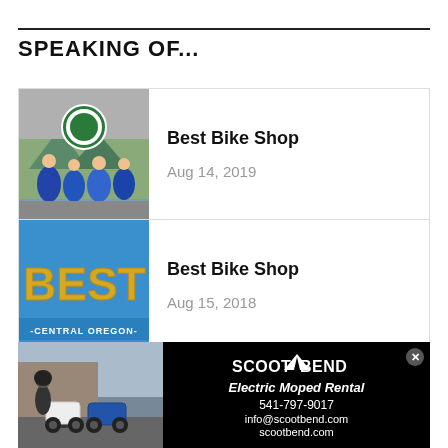SPEAKING OF...
[Figure (photo): Group of people celebrating outside a bike shop with a circular logo sign, colorful mural in background]
Best Bike Shop
Aug 14, 2019
[Figure (photo): Blue background with golden balloon letters spelling BEST O, text -CENTRAL OREGON- at bottom]
Best Bike Shop
Aug 15, 2018
[Figure (photo): Advertisement for Scoot Bend Electric Moped Rental showing two electric mopeds and contact information: 541-797-9017, info@scootbend.com, scootbend.com]